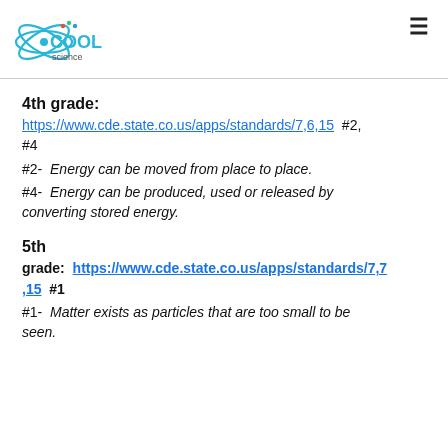[Figure (logo): Cool Science logo with atom graphic and colorful dots on letters]
4th grade:
https://www.cde.state.co.us/apps/standards/7,6,15  #2, #4
#2-  Energy can be moved from place to place.
#4-  Energy can be produced, used or released by converting stored energy.
5th grade:  https://www.cde.state.co.us/apps/standards/7,7,15  #1
#1-  Matter exists as particles that are too small to be seen.